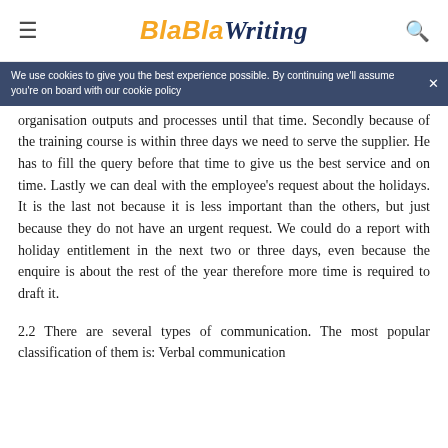BlaBlaWriting
We use cookies to give you the best experience possible. By continuing we'll assume you're on board with our cookie policy
organisation outputs and processes until that time. Secondly because of the training course is within three days we need to serve the supplier. He has to fill the query before that time to give us the best service and on time. Lastly we can deal with the employee's request about the holidays. It is the last not because it is less important than the others, but just because they do not have an urgent request. We could do a report with holiday entitlement in the next two or three days, even because the enquire is about the rest of the year therefore more time is required to draft it.
2.2 There are several types of communication. The most popular classification of them is: Verbal communication